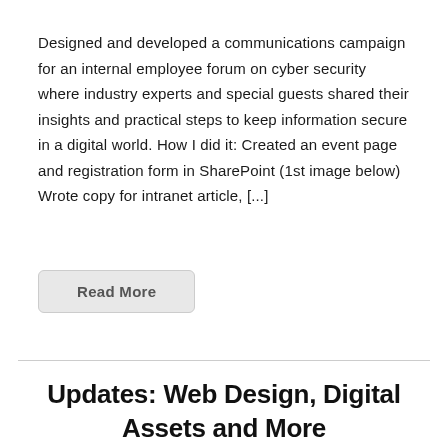Designed and developed a communications campaign for an internal employee forum on cyber security where industry experts and special guests shared their insights and practical steps to keep information secure in a digital world. How I did it: Created an event page and registration form in SharePoint (1st image below) Wrote copy for intranet article, [...]
Read More
Updates: Web Design, Digital Assets and More